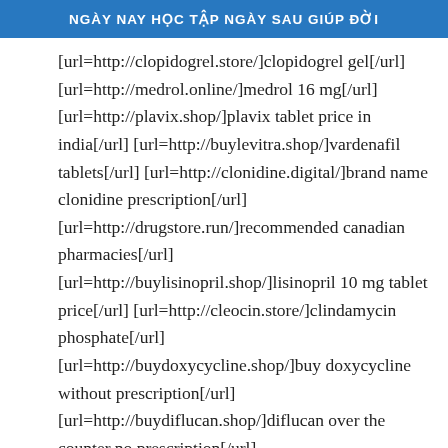NGÀY NAY HỌC TẬP NGÀY SAU GIÚP ĐỜI
[url=http://clopidogrel.store/]clopidogrel gel[/url] [url=http://medrol.online/]medrol 16 mg[/url] [url=http://plavix.shop/]plavix tablet price in india[/url] [url=http://buylevitra.shop/]vardenafil tablets[/url] [url=http://clonidine.digital/]brand name clonidine prescription[/url] [url=http://drugstore.run/]recommended canadian pharmacies[/url] [url=http://buylisinopril.shop/]lisinopril 10 mg tablet price[/url] [url=http://cleocin.store/]clindamycin phosphate[/url] [url=http://buydoxycycline.shop/]buy doxycycline without prescription[/url] [url=http://buydiflucan.shop/]diflucan over the counter no prescription[/url]